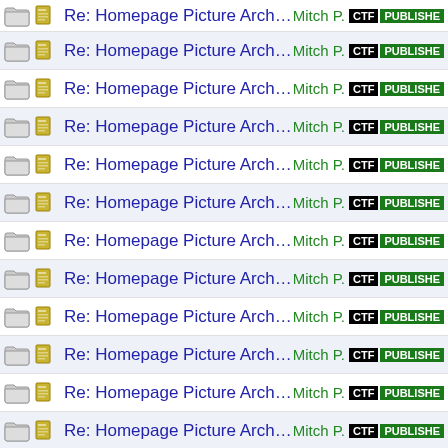Re: Homepage Picture Archive — Mitch P. CTF PUBLISHED
Re: Homepage Picture Archive — Mitch P. CTF PUBLISHED
Re: Homepage Picture Archive — Mitch P. CTF PUBLISHED
Re: Homepage Picture Archive — Mitch P. CTF PUBLISHED
Re: Homepage Picture Archive — Mitch P. CTF PUBLISHED
Re: Homepage Picture Archive — Mitch P. CTF PUBLISHED
Re: Homepage Picture Archive — Mitch P. CTF PUBLISHED
Re: Homepage Picture Archive — Mitch P. CTF PUBLISHED
Re: Homepage Picture Archive — Mitch P. CTF PUBLISHED
Re: Homepage Picture Archive — Mitch P. CTF PUBLISHED
Re: Homepage Picture Archive — Mitch P. CTF PUBLISHED
Re: Homepage Picture Archive — Mitch P. CTF PUBLISHED
Re: Homepage Picture Archive — Mitch P. CTF PUBLISHED
Re: Homepage Picture Archive — Mitch P. CTF PUBLISHED
Re: Homepage Picture Archive — Mitch P. CTF PUBLISHED
Re: Homepage Picture Archive — Mitch P. CTF PUBLISHED
Re: Homepage Picture Archive — Mitch P. CTF PUBLISHED
Re: Homepage Picture Archive — Mitch P. CTF PUBLISHED
Re: Homepage Picture Archive — Mitch P. CTF PUBLISHED